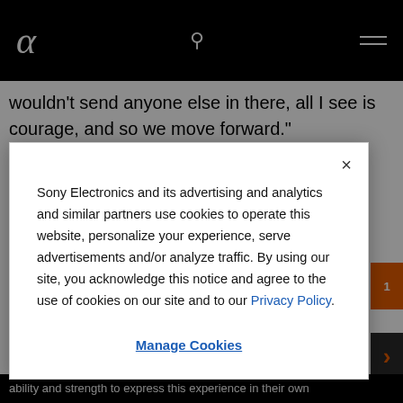Sony Alpha logo, search icon, menu icon
wouldn’t send anyone else in there, all I see is courage, and so we move forward.”
Sony Electronics and its advertising and analytics and similar partners use cookies to operate this website, personalize your experience, serve advertisements and/or analyze traffic. By using our site, you acknowledge this notice and agree to the use of cookies on our site and to our Privacy Policy.
Manage Cookies
ability and strength to express this experience in their own